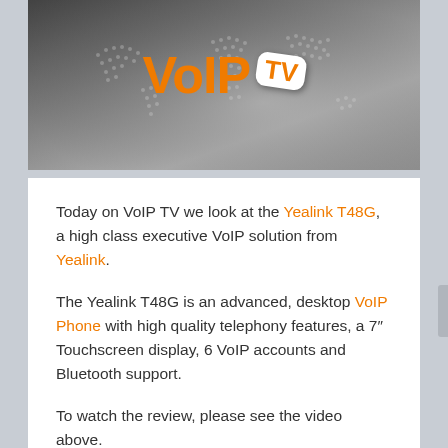[Figure (illustration): VoIP TV banner with dark grey world map background and orange 'VoIP' text alongside a white TV badge with orange 'TV' text, slightly rotated]
Today on VoIP TV we look at the Yealink T48G, a high class executive VoIP solution from Yealink.
The Yealink T48G is an advanced, desktop VoIP Phone with high quality telephony features, a 7" Touchscreen display, 6 VoIP accounts and Bluetooth support.
To watch the review, please see the video above.
Yealink T48G Review – Transcript
Craig Herrett, VoIPon: Hello and welcome to VoIP TV